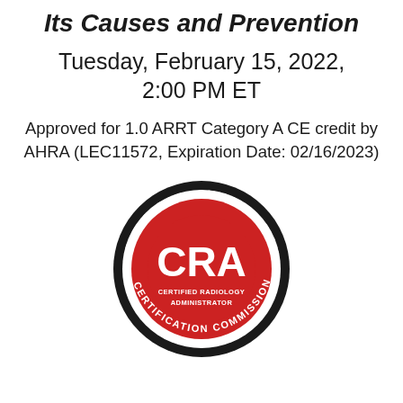Its Causes and Prevention
Tuesday, February 15, 2022, 2:00 PM ET
Approved for 1.0 ARRT Category A CE credit by AHRA (LEC11572, Expiration Date: 02/16/2023)
[Figure (logo): CRA Certified Radiology Administrator - Radiology Administration Certification Commission seal/logo. Black outer ring with text, red inner circle with white CRA lettering and 'CERTIFIED RADIOLOGY ADMINISTRATOR' text below.]